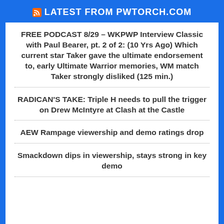LATEST FROM PWTORCH.COM
FREE PODCAST 8/29 – WKPWP Interview Classic with Paul Bearer, pt. 2 of 2: (10 Yrs Ago) Which current star Taker gave the ultimate endorsement to, early Ultimate Warrior memories, WM match Taker strongly disliked (125 min.)
RADICAN'S TAKE: Triple H needs to pull the trigger on Drew McIntyre at Clash at the Castle
AEW Rampage viewership and demo ratings drop
Smackdown dips in viewership, stays strong in key demo